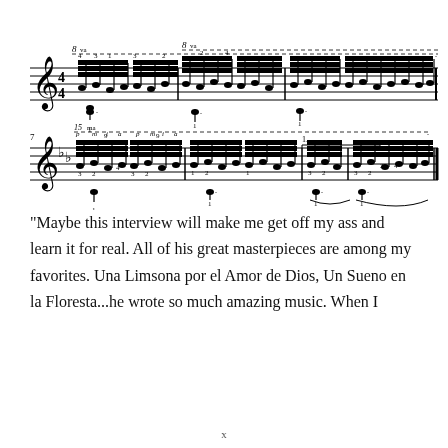[Figure (illustration): Two staves of classical guitar sheet music notation showing rapid sixteenth-note passages with fingering numbers (p, m, i, a right-hand markings and left-hand position numbers), beam groups, slurs, time signature, key signature, measure numbers (7 visible), and 8va/15ma octave markings with dashed lines.]
“Maybe this interview will make me get off my ass and learn it for real. All of his great masterpieces are among my favorites. Una Limsona por el Amor de Dios, Un Sueno en la Floresta...he wrote so much amazing music. When I
x